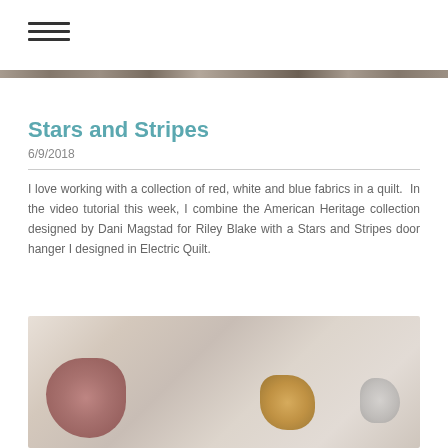[Figure (other): Hamburger menu icon (three horizontal lines) in top-left corner]
[Figure (other): Decorative banner strip with dark textured pattern stretching full width]
Stars and Stripes
6/9/2018
I love working with a collection of red, white and blue fabrics in a quilt.  In the video tutorial this week, I combine the American Heritage collection designed by Dani Magstad for Riley Blake with a Stars and Stripes door hanger I designed in Electric Quilt.
[Figure (photo): Blurred photograph showing quilted items or door hangers on a light background, with red/brown blob on left, golden/orange shape in center-right, and grey shape on far right]